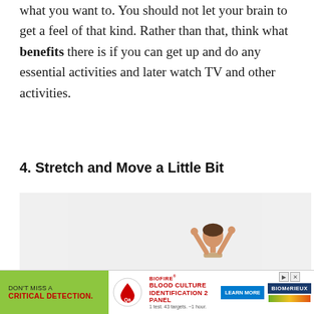what you want to. You should not let your brain to get a feel of that kind. Rather than that, think what benefits there is if you can get up and do any essential activities and later watch TV and other activities.
4. Stretch and Move a Little Bit
[Figure (photo): A person stretching or moving, shown from the side, with arms raised behind their head, against a light gray/white background.]
[Figure (other): Advertisement banner for BioFire Blood Culture Identification 2 Panel with 'Don't Miss a Critical Detection' text, a blood drop icon, Learn More button, and bioMerieux logo.]